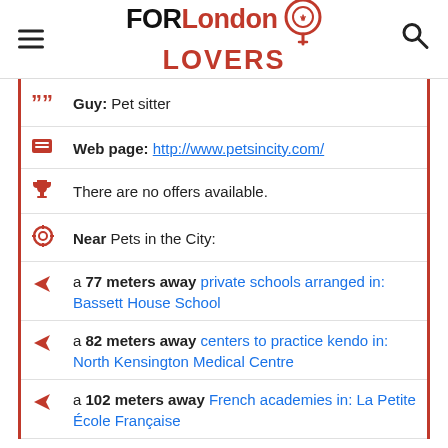FORLondon LOVERS
Guy: Pet sitter
Web page: http://www.petsincity.com/
There are no offers available.
Near Pets in the City:
a 77 meters away private schools arranged in: Bassett House School
a 82 meters away centers to practice kendo in: North Kensington Medical Centre
a 102 meters away French academies in: La Petite École Française
Are you the owner of the business? PROMOTE IT!